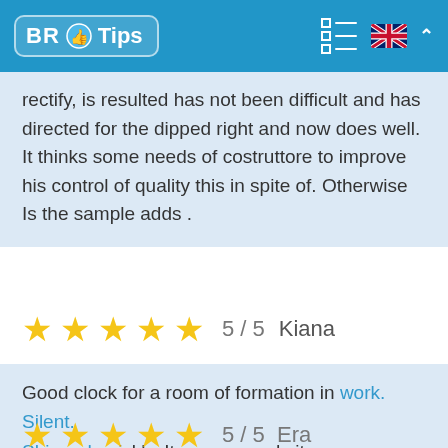BR Tips
rectify, is resulted has not been difficult and has directed for the dipped right and now does well. It thinks some needs of costruttore to improve his control of quality this in spite of. Otherwise Is the sample adds .
★★★★★  5 / 5   Kiana
Good clock for a room of formation in work. Silent. Shipped quickly. It recommends it.
★★★★★  5 / 5   Era